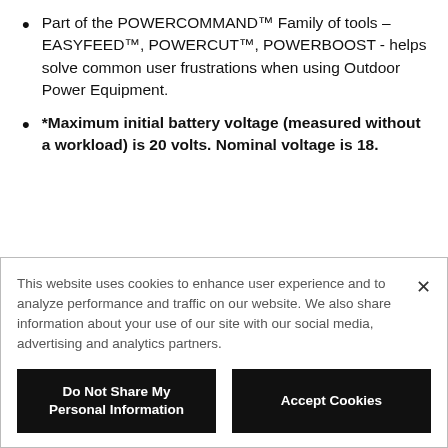Part of the POWERCOMMAND™ Family of tools – EASYFEED™, POWERCUT™, POWERBOOST - helps solve common user frustrations when using Outdoor Power Equipment.
*Maximum initial battery voltage (measured without a workload) is 20 volts. Nominal voltage is 18.
This website uses cookies to enhance user experience and to analyze performance and traffic on our website. We also share information about your use of our site with our social media, advertising and analytics partners.
Do Not Share My Personal Information
Accept Cookies